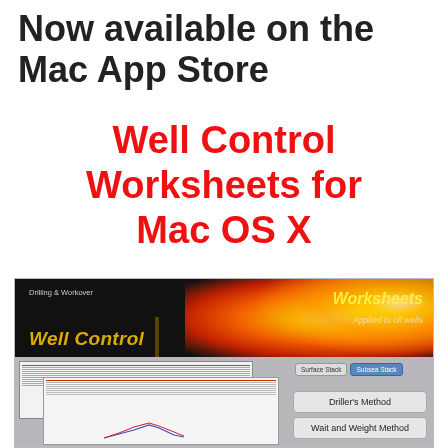Now available on the Mac App Store
Well Control Worksheets for Mac OS X
[Figure (screenshot): Screenshot of the Well Control Worksheets application for Mac OS X. Shows a banner with 'Drilling & Workover Well Control' and 'Worksheets Applied to oil wells' text over a fiery explosion background. Below shows worksheet thumbnails on the left side and UI buttons on the right including 'Surface Stack', 'Subsea Stack', 'Driller's Method', and 'Wait and Weight Method'.]